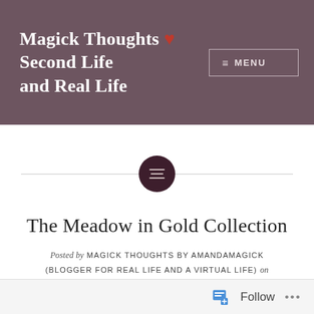Magick Thoughts ❤ Second Life and Real Life | MENU
[Figure (other): Decorative horizontal divider with dark circular icon containing three horizontal lines (hamburger/menu style icon)]
The Meadow in Gold Collection
Posted by MAGICK THOUGHTS BY AMANDAMAGICK (BLOGGER FOR REAL LIFE AND A VIRTUAL LIFE) on FEBRUARY 17, 2016
★★★★★ ℹ 1 Vote
Follow ...